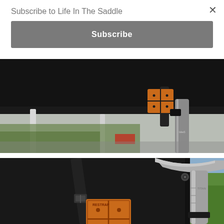Subscribe to Life In The Saddle
×
Subscribe
[Figure (photo): Close-up photo of a black bicycle saddle bag with an orange Restrap brand logo patch, strapped to a bicycle seat post with black straps. Bike frame visible in background with green foliage.]
[Figure (photo): Close-up photo of a black bicycle frame bag with an orange Restrap brand logo patch and black buckle strap. A metal water bottle or pump attached to the frame is visible on the right, with green countryside landscape in the background.]